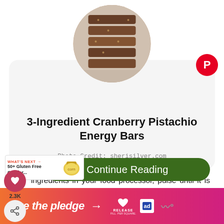[Figure (photo): Circular hero image of stacked chocolate cranberry pistachio energy bars]
[Figure (logo): Pinterest P icon in red circle, top right]
3-Ingredient Cranberry Pistachio Energy Bars
Photo Credit: sherisilver.com
It couldn't be easier to simply combine three ingredients in your food processor, pulse until it is broken down, and form them into bars. You can use any combination of nuts, dried fruit, and dates.
[Figure (screenshot): What's Next ad: 50+ Gluten Free Comfor... with food can image]
[Figure (other): Continue Reading green button]
[Figure (infographic): Bottom banner: take the pledge with Release and ad icons]